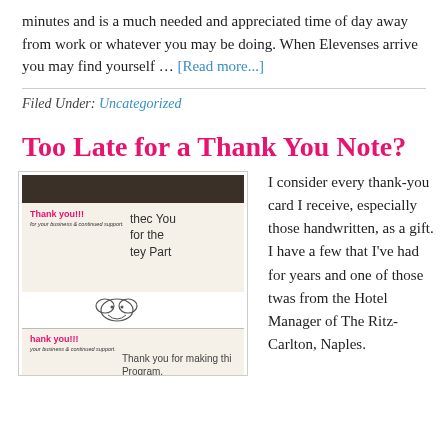minutes and is a much needed and appreciated time of day away from work or whatever you may be doing. When Elevenses arrive you may find yourself … [Read more...]
Filed Under: Uncategorized
Too Late for a Thank You Note?
[Figure (photo): Photo of handwritten thank you cards. Top card shows 'Thank you!!!' printed in red with 'thec You for the tey Part' handwritten and a drawing. Bottom card shows 'hank you!!!' printed in red with 'Thank you for making thi Program.' handwritten.]
I consider every thank-you card I receive, especially those handwritten, as a gift. I have a few that I've had for years and one of those twas from the Hotel Manager of The Ritz-Carlton, Naples.